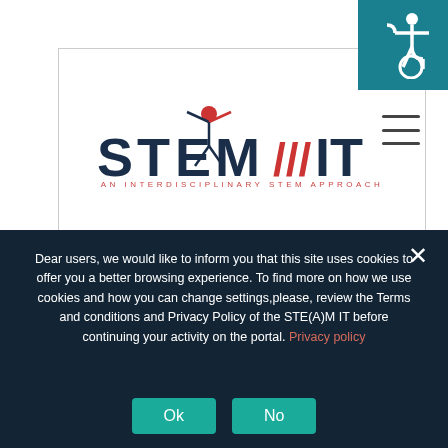[Figure (logo): STEAM IT logo — AN INTERDISCIPLINARY STEM APPROACH — with stick figure above the A in STEAM, inside a bordered box]
[Figure (illustration): Teal/dark-cyan square in top-right corner containing a white wheelchair accessibility icon]
[Figure (illustration): Hamburger menu icon (three horizontal lines) on the right side]
n g t h e
Dear users, we would like to inform you that this site uses cookies to offer you a better browsing experience. To find more on how we use cookies and how you can change settings,please, review the Terms and conditions and Privacy Policy of the STE(A)M IT before continuing your activity on the portal. Privacy policy